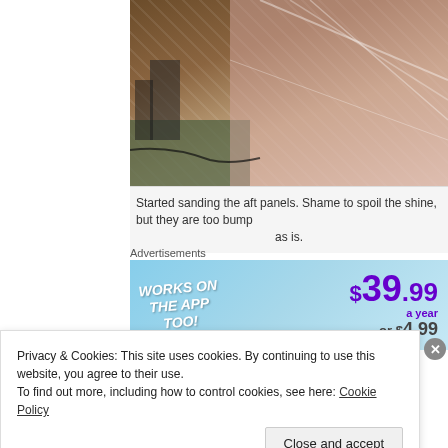[Figure (photo): Photo of aft panels being sanded, showing pink/brown foam or fiberglass panels wrapped in plastic sheeting in a workshop environment]
Started sanding the aft panels. Shame to spoil the shine, but they are too bump as is.
Advertisements
[Figure (other): Advertisement banner reading 'WORKS ON THE APP TOO!' with pricing $39.99 a year or $4.99]
Privacy & Cookies: This site uses cookies. By continuing to use this website, you agree to their use.
To find out more, including how to control cookies, see here: Cookie Policy
Close and accept